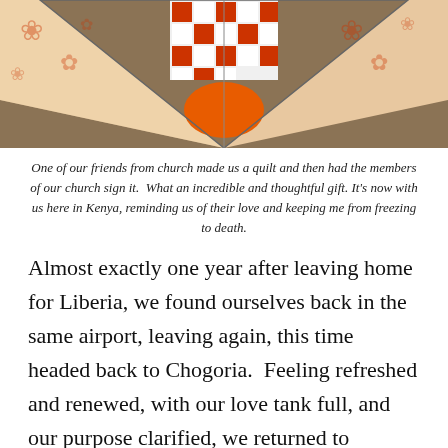[Figure (photo): A decorative quilt with orange and white floral and patchwork pattern, spread on a brown background, viewed from above showing its butterfly or bowtie shape.]
One of our friends from church made us a quilt and then had the members of our church sign it.  What an incredible and thoughtful gift.  It’s now with us here in Kenya, reminding us of their love and keeping me from freezing to death.
Almost exactly one year after leaving home for Liberia, we found ourselves back in the same airport, leaving again, this time headed back to Chogoria.  Feeling refreshed and renewed, with our love tank full, and our purpose clarified, we returned to Kenya.  We have been back at the Swahili since, and have progressed to the point of